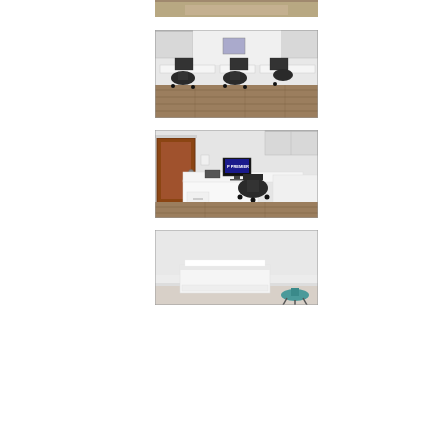[Figure (photo): Top portion of a medical office interior photo, partially cropped — shows what appears to be a counter or desk area.]
[Figure (photo): Medical office open workspace with multiple workstations, black office chairs, white cabinetry above, computers on desks, and hardwood-style flooring.]
[Figure (photo): Medical office individual workstation with white L-shaped desk, black office chair, computer monitor with Premier logo, printer, wall cabinets, and hardwood-style flooring.]
[Figure (photo): Medical exam room with white walls, an examination table with paper roll, and a teal/blue stool, partially shown.]